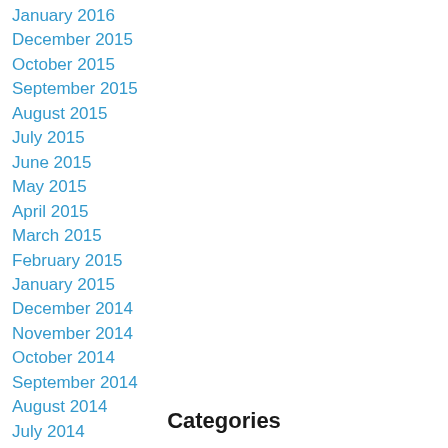January 2016
December 2015
October 2015
September 2015
August 2015
July 2015
June 2015
May 2015
April 2015
March 2015
February 2015
January 2015
December 2014
November 2014
October 2014
September 2014
August 2014
July 2014
June 2014
Categories